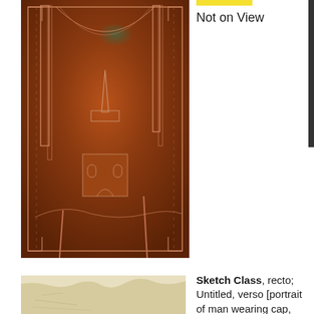[Figure (photo): Copper etching plate showing an architectural scene with tall trees framing a church or cathedral building, rendered in reddish-brown copper tones with incised lines]
Not on View
[Figure (photo): Partial view of a light tan/cream colored sketch or drawing on paper, showing faint pencil marks]
Sketch Class, recto; Untitled, verso [portrait of man wearing cap, and portrait of a bl...